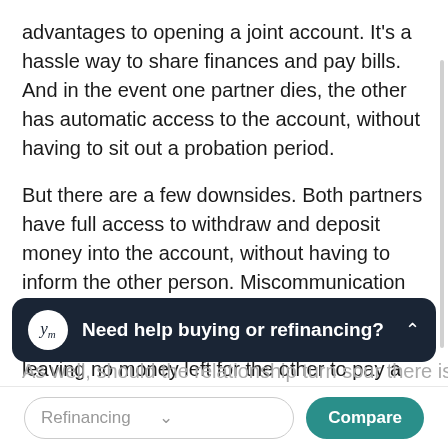advantages to opening a joint account. It's a hassle way to share finances and pay bills. And in the event one partner dies, the other has automatic access to the account, without having to sit out a probation period.
But there are a few downsides. Both partners have full access to withdraw and deposit money into the account, without having to inform the other person. Miscommunication between partners can lead to problems. For instance, one partner makes a purchase, leaving no money left for the other to pay a bill
[Figure (other): Dark overlay banner with ym logo icon and text 'Need help buying or refinancing?' with a chevron up arrow]
As well, should the relationship turn sour there is
[Figure (other): Bottom toolbar with a Refinancing dropdown selector and a teal Compare button]